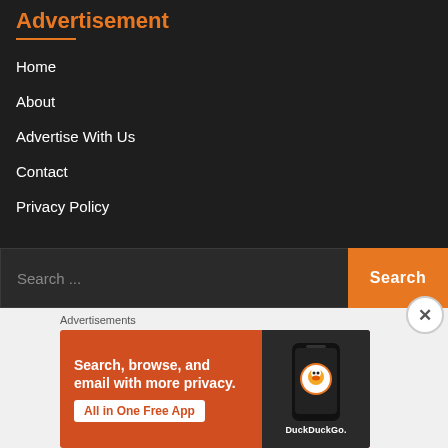Advertisement
Home
About
Advertise With Us
Contact
Privacy Policy
Search ...
Advertisements
[Figure (infographic): DuckDuckGo advertisement banner: orange background with text 'Search, browse, and email with more privacy. All in One Free App' and a phone showing DuckDuckGo logo]